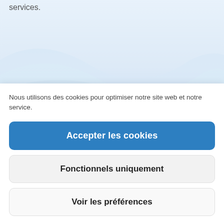services.
[Figure (illustration): Light blue decorative wave/background graphic area]
Nous utilisons des cookies pour optimiser notre site web et notre service.
Accepter les cookies
Fonctionnels uniquement
Voir les préférences